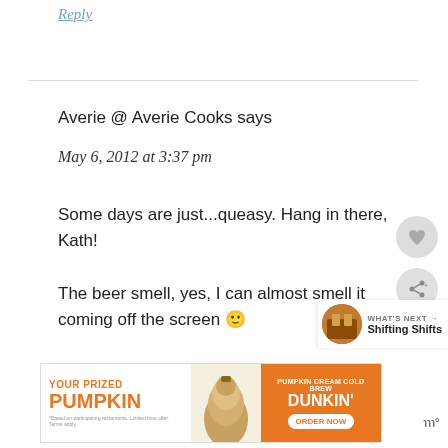Reply
Averie @ Averie Cooks says
May 6, 2012 at 3:37 pm
Some days are just...queasy. Hang in there, Kath!

The beer smell, yes, I can almost smell it coming off the screen 🙂
[Figure (photo): Dunkin' advertisement banner: YOUR PRIZED PUMPKIN with a pumpkin cream cold brew image and ORDER NOW button]